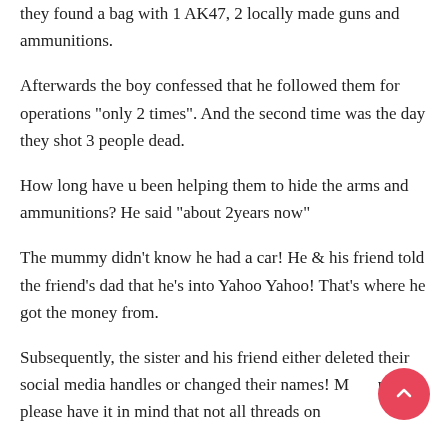they found a bag with 1 AK47, 2 locally made guns and ammunitions.
Afterwards the boy confessed that he followed them for operations "only 2 times". And the second time was the day they shot 3 people dead.
How long have u been helping them to hide the arms and ammunitions? He said "about 2years now"
The mummy didn't know he had a car! He & his friend told the friend's dad that he's into Yahoo Yahoo! That's where he got the money from.
Subsequently, the sister and his friend either deleted their social media handles or changed their names! Many people please have it in mind that not all threads on